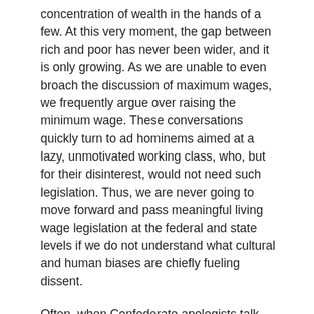concentration of wealth in the hands of a few. At this very moment, the gap between rich and poor has never been wider, and it is only growing. As we are unable to even broach the discussion of maximum wages, we frequently argue over raising the minimum wage. These conversations quickly turn to ad hominems aimed at a lazy, unmotivated working class, who, but for their disinterest, would not need such legislation. Thus, we are never going to move forward and pass meaningful living wage legislation at the federal and state levels if we do not understand what cultural and human biases are chiefly fueling dissent.
Often, when Confederate apologists talk about the Antebellum South, they mention how not all white people owned slaves at the time. In fact, just 25% of white families owned slaves. Yet, in 1860, poor and working class southern whites who would never earn enough to own a slave outright advocated and fought for the right to continue their “peculiar institution” in Confederate uniforms. They did this despite the fact that the institution of slavery was economically terrible for them. Moral issues aside, the free labor of an entire race of people decreased pay for